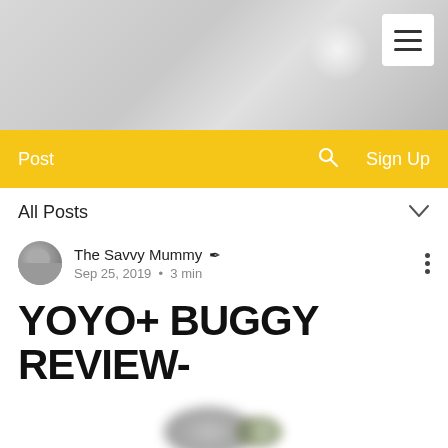[Figure (screenshot): Blog website screenshot showing header image with hamburger menu, yellow navigation bar with Post, search and Sign Up links, All Posts filter, author byline, and blog post title]
Post   Sign Up
All Posts
The Savvy Mummy ✒  Sep 25, 2019 • 3 min
YOYO+ BUGGY REVIEW-
[Figure (photo): Blurred partial image of a buggy/pram at the bottom of the page]